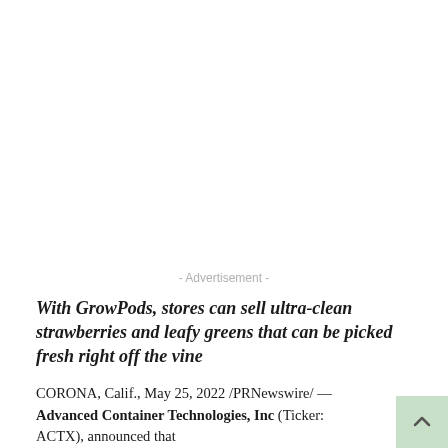- Advertisement -
With GrowPods, stores can sell ultra-clean strawberries and leafy greens that can be picked fresh right off the vine
CORONA, Calif., May 25, 2022 /PRNewswire/ — Advanced Container Technologies, Inc (Ticker: ACTX), announced that